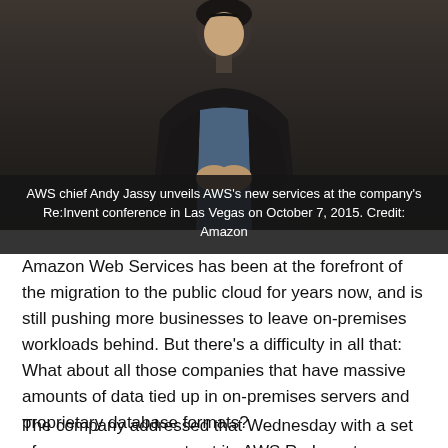[Figure (photo): AWS chief Andy Jassy on stage at Re:Invent conference, dark background, person in dark jacket and blue shirt with hands clasped]
AWS chief Andy Jassy unveils AWS's new services at the company's Re:Invent conference in Las Vegas on October 7, 2015. Credit: Amazon
Amazon Web Services has been at the forefront of the migration to the public cloud for years now, and is still pushing more businesses to leave on-premises workloads behind. But there's a difficulty in all that: What about all those companies that have massive amounts of data tied up in on-premises servers and proprietary database formats?
The company addressed that Wednesday with a set of new announcements at its AWS Re:Invent conference in Las